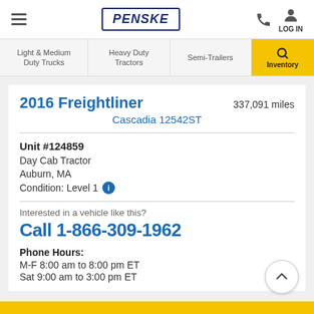PENSKE — Navigation header with hamburger menu, logo, phone icon, and LOG IN
Light & Medium Duty Trucks | Heavy Duty Tractors | Semi-Trailers | Inventory (search)
2016 Freightliner Cascadia 12542ST — 337,091 miles
Unit #124859
Day Cab Tractor
Auburn, MA
Condition: Level 1
Interested in a vehicle like this?
Call 1-866-309-1962
Phone Hours:
M-F 8:00 am to 8:00 pm ET
Sat 9:00 am to 3:00 pm ET